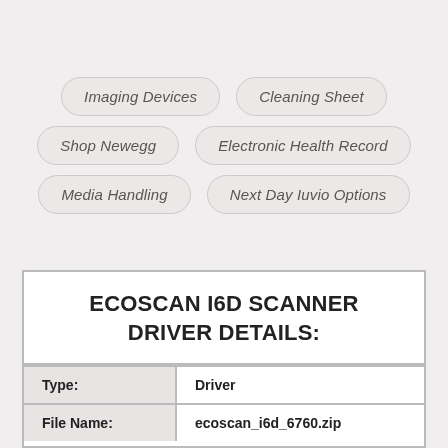Imaging Devices
Cleaning Sheet
Shop Newegg
Electronic Health Record
Media Handling
Next Day Iuvio Options
ECOSCAN I6D SCANNER DRIVER DETAILS:
| Type: | Driver |
| --- | --- |
| File Name: | ecoscan_i6d_6760.zip |